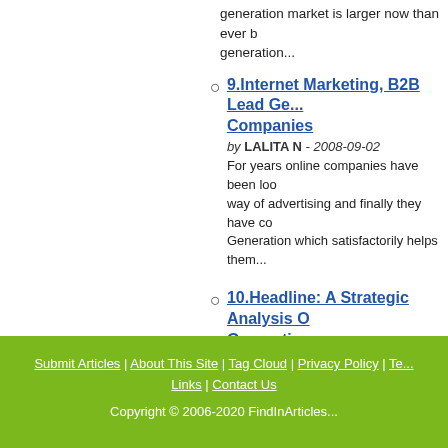generation market is larger now than ever before generation...
9. Internet Marketing, B2B Lead Generation Companies — by LALITA N - 2008-09-02 — For years online companies have been looking for a new way of advertising and finally they have come across Lead Generation which satisfactorily helps them...
10. Headline: A Strategic Analysis of... Generation — by Lalita n - 2008-09-10 — Smart online promotional strategies are always about lead generation. If you are specifically selling something, generating revenue and creating promotions...
Total Search Results:
[1] 2 »
Submit Articles | About This Site | Tag Cloud | Privacy Policy | Te... Links | Contact Us
Copyright © 2006-2020 FindInArticles...